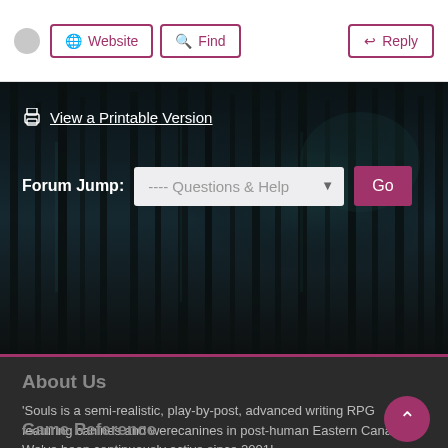Website | Find | Reply
[Figure (screenshot): Dark forest banner image with tree silhouettes in dark teal/black tones]
View a Printable Version
Forum Jump: ---- Questions & Help  Go
About Us
'Souls is a semi-realistic, play-by-post, advanced writing RPG featuring canines and werecanines in post-human Eastern Canada. We've been continuously active since 2001!
[Figure (infographic): Social media icon circles: Discord, Twitter, Facebook, DeviantArt, Tumblr]
Game Reference